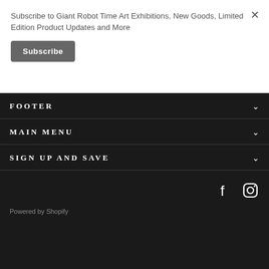Subscribe to Giant Robot Time Art Exhibitions, New Goods, Limited Edition Product Updates and More
Subscribe
FOOTER
MAIN MENU
SIGN UP AND SAVE
Powered by Shopify